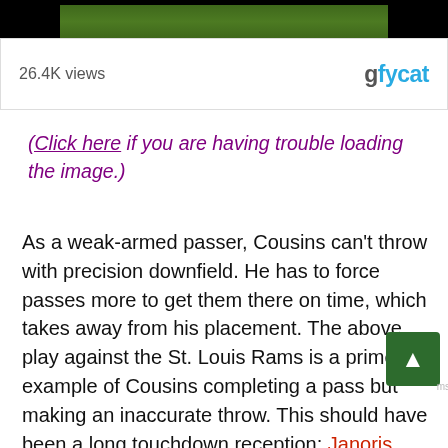[Figure (screenshot): Top black bar with partial view of a football field GIF/video thumbnail showing players on a green field.]
26.4K views
[Figure (logo): gfycat logo in blue text]
(Click here if you are having trouble loading the image.)
As a weak-armed passer, Cousins can't throw with precision downfield. He has to force passes more to get them there on time, which takes away from his placement. The above play against the St. Louis Rams is a prime example of Cousins completing a pass but making an inaccurate throw. This should have been a long touchdown reception; Janoris Jenkins completely bought on the out route that the receiver, Ryan Grant, never ran. Cousins sho have led Grant downfield, allowing him to run underneath the ball and continue on towards the end zone. Instead, as soon as Grant got level with the cornerback he began to slow down, turning to